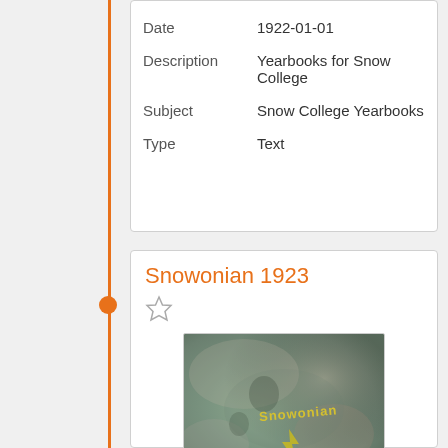| Field | Value |
| --- | --- |
| Date | 1922-01-01 |
| Description | Yearbooks for Snow College |
| Subject | Snow College Yearbooks |
| Type | Text |
Snowonian 1923
[Figure (photo): Cover of the Snowonian 1923 yearbook — a worn greenish-blue textured cover with yellow text 'Snowonian' and a yellow graphic design]